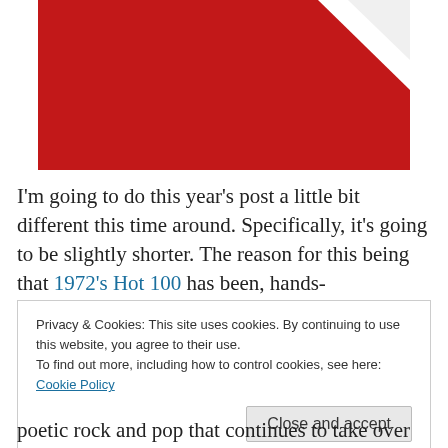[Figure (photo): Partial photograph showing a red background with a white triangular shape (card corner) visible at the top right.]
I'm going to do this year's post a little bit different this time around. Specifically, it's going to be slightly shorter. The reason for this being that 1972's Hot 100 has been, hands-
Privacy & Cookies: This site uses cookies. By continuing to use this website, you agree to their use.
To find out more, including how to control cookies, see here: Cookie Policy
[Close and accept]
poetic rock and pop that continues to take over this entire